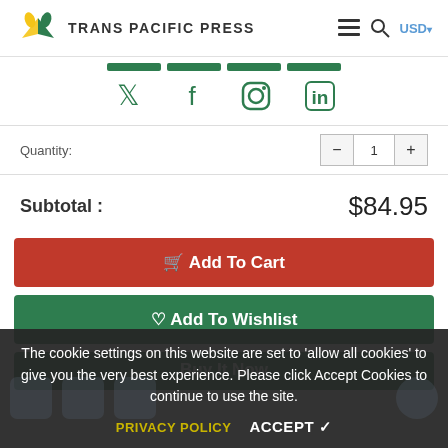TRANS PACIFIC PRESS
[Figure (screenshot): Social media icons: Twitter, Facebook, Instagram, LinkedIn with green tab indicators above]
Quantity: 1
Subtotal : $84.95
Add To Cart
Add To Wishlist
Buy It Now
The cookie settings on this website are set to 'allow all cookies' to give you the very best experience. Please click Accept Cookies to continue to use the site.
PRIVACY POLICY   ACCEPT ✓